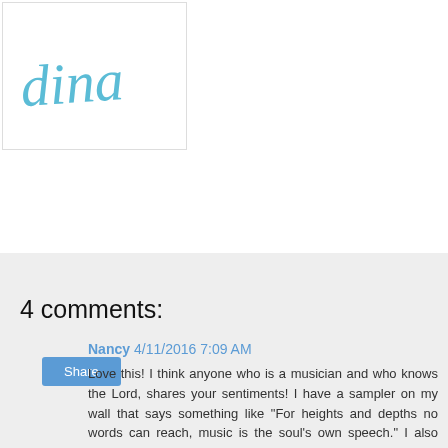[Figure (logo): Handwritten cursive logo reading 'dina' in teal/light blue color on white background with border]
Share
4 comments:
Nancy 4/11/2016 7:09 AM
Love this! I think anyone who is a musician and who knows the Lord, shares your sentiments! I have a sampler on my wall that says something like "For heights and depths no words can reach, music is the soul's own speech." I also play in our church orchestra (violin).
Reply